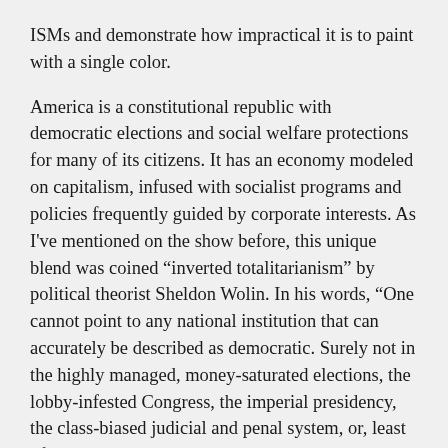ISMs and demonstrate how impractical it is to paint with a single color.
America is a constitutional republic with democratic elections and social welfare protections for many of its citizens. It has an economy modeled on capitalism, infused with socialist programs and policies frequently guided by corporate interests. As I’ve mentioned on the show before, this unique blend was coined “inverted totalitarianism” by political theorist Sheldon Wolin. In his words, “One cannot point to any national institution that can accurately be described as democratic. Surely not in the highly managed, money-saturated elections, the lobby-infested Congress, the imperial presidency, the class-biased judicial and penal system, or, least of all, the media.”